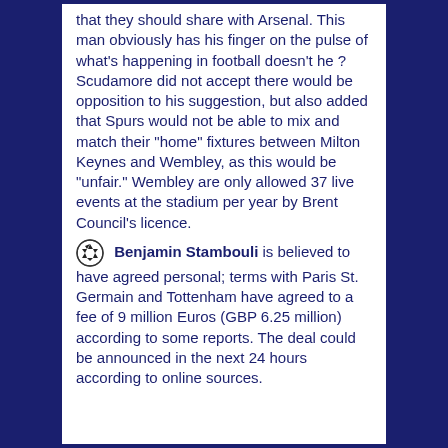that they should share with Arsenal.  This man obviously has his finger on the pulse of what's happening in football doesn't he ?  Scudamore did not accept there would be opposition to his suggestion, but also added that Spurs would not be able to mix and match their "home" fixtures between Milton Keynes and Wembley, as this would be "unfair."  Wembley are only allowed 37 live events at the stadium per year by Brent Council's licence.
Benjamin Stambouli is believed to have agreed personal; terms with Paris St. Germain and Tottenham have agreed to a fee of 9 million Euros (GBP 6.25 million) according to some reports.  The deal could be announced in the next 24 hours according to online sources.